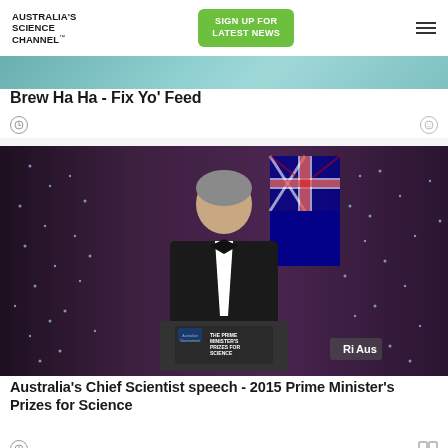AUSTRALIA'S SCIENCE CHANNEL™ | SIGN UP FOR LATEST NEWS
Brew Ha Ha - Fix Yo' Feed
[Figure (photo): Thumbnail image for Brew Ha Ha - Fix Yo Feed video (partially visible, teal/aqua toned)]
[Figure (photo): Man in black tuxedo speaking at a podium labelled 'The Prime Minister's Prizes for Science', with an Australian flag and a fairy light curtain backdrop. A 'Ri Aus' logo watermark is visible in the bottom right corner.]
Australia's Chief Scientist speech - 2015 Prime Minister's Prizes for Science